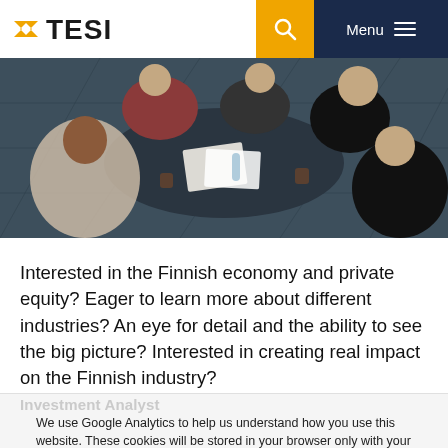TESI | Menu
[Figure (photo): Overhead view of a business meeting with several people seated around a dark table, with papers, documents and coffee cups visible. Taken from above.]
Interested in the Finnish economy and private equity? Eager to learn more about different industries? An eye for detail and the ability to see the big picture? Interested in creating real impact on the Finnish industry?
Investment Analyst
We use Google Analytics to help us understand how you use this website. These cookies will be stored in your browser only with your consent. You also have the option